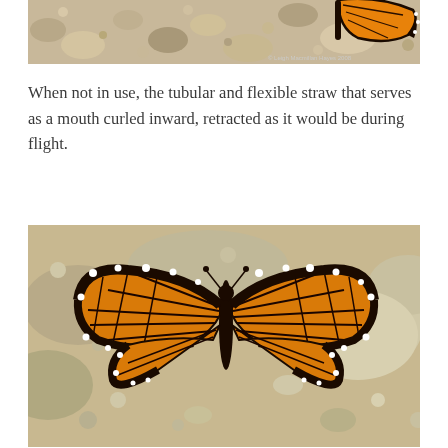[Figure (photo): Close-up photo of a monarch butterfly on rocky/gravelly ground, showing orange and black wing pattern, partially cropped at top. Photo credit text visible in lower right: © Leigh Macmillan Hayes 2008]
When not in use, the tubular and flexible straw that serves as a mouth curled inward, retracted as it would be during flight.
[Figure (photo): Close-up photo of a monarch butterfly resting on rocky/gravelly ground with wings spread open, showing classic orange and black wing pattern with white spots along the edges. The butterfly is viewed from above.]